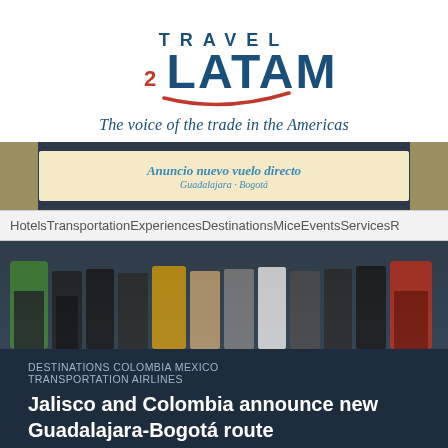[Figure (logo): Travel 2 LATAM logo with red swoosh underline]
The voice of the trade in the Americas
[Figure (photo): Banner advertisement with text 'Anuncio nuevo vuelo directo' on light background, flanked by dark panel sides]
HotelsTransportationExperiencesDestinationsMiceEventsServicesR
[Figure (photo): Group of people standing in a row, some in traditional colorful clothing, on dark navy background]
DESTINATIONS COLOMBIA MEXICO TRANSPORTATION AIRLINES
Jalisco and Colombia announce new Guadalajara-Bogotá route